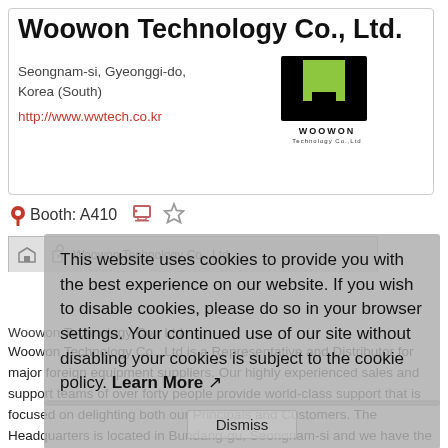Woowon Technology Co., Ltd.
Seongnam-si, Gyeonggi-do, Korea (South)
http://www.wwtech.co.kr
[Figure (logo): Woowon Technology Co., Ltd. logo — green and black W-shaped square with 'WOOWON Technology Co.,Ltd' text below]
Booth: A410
This website uses cookies to provide you with the best experience on our website. If you wish to disable cookies, please do so in your browser settings. Your continued use of our site without disabling your cookies is subject to the cookie policy. Learn More
Woowon Technology Co., Ltd
Woowon Technology Co., Ltd is a Representative and Distributor for major foreign equipment suppliers. Our highly experienced sales and support teams of over forty people provide world-class support that is focused on delighting both our Principals and Customers. The Headquarters is located in Bundang-gu, Seongnam-si and we have the second office in Hwasung-si and the third office in Icheon-si ensuring fast and effective operations.
Dismiss